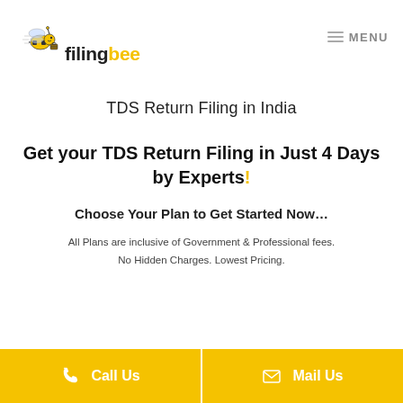filingbee MENU
TDS Return Filing in India
Get your TDS Return Filing in Just 4 Days by Experts!
Choose Your Plan to Get Started Now...
All Plans are inclusive of Government & Professional fees. No Hidden Charges. Lowest Pricing.
Call Us   Mail Us